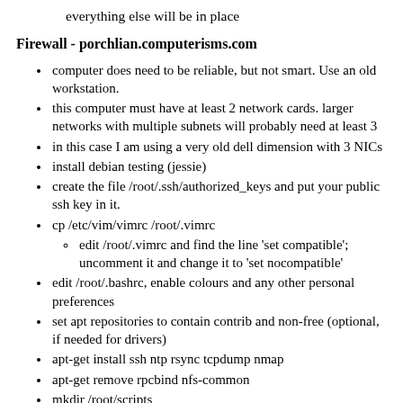everything else will be in place
Firewall - porchlian.computerisms.com
computer does need to be reliable, but not smart. Use an old workstation.
this computer must have at least 2 network cards. larger networks with multiple subnets will probably need at least 3
in this case I am using a very old dell dimension with 3 NICs
install debian testing (jessie)
create the file /root/.ssh/authorized_keys and put your public ssh key in it.
cp /etc/vim/vimrc /root/.vimrc
edit /root/.vimrc and find the line 'set compatible'; uncomment it and change it to 'set nocompatible'
edit /root/.bashrc, enable colours and any other personal preferences
set apt repositories to contain contrib and non-free (optional, if needed for drivers)
apt-get install ssh ntp rsync tcpdump nmap
apt-get remove rpcbind nfs-common
mkdir /root/scripts
configure external eth0 interface as 192.168.25.15/gw=192.168.25.1/dns=192.168.25.1
configure internal eth1 interface as